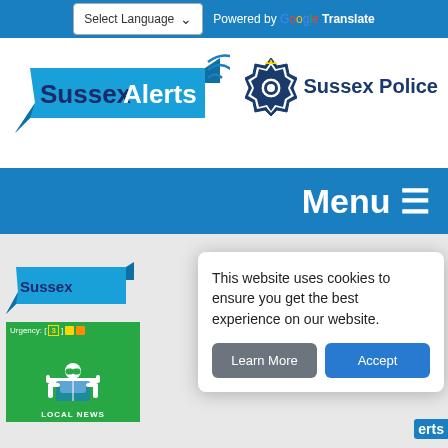Select Language | Powered by Google Translate
[Figure (logo): Sussex Alerts logo — blue ribbon banner with white text 'Sussex Alerts' and wifi signal arcs]
[Figure (logo): Sussex Police logo — police badge emblem with text 'Sussex Police' in dark blue]
Menu ☰
[Figure (logo): Partial Sussex Alerts logo (small, bottom left)]
[Figure (infographic): Green card with urgency indicator: Urgency: [3] and colored squares, person reading icon, LOCAL NEWS label]
This website uses cookies to ensure you get the best experience on our website.
Learn More  Accept